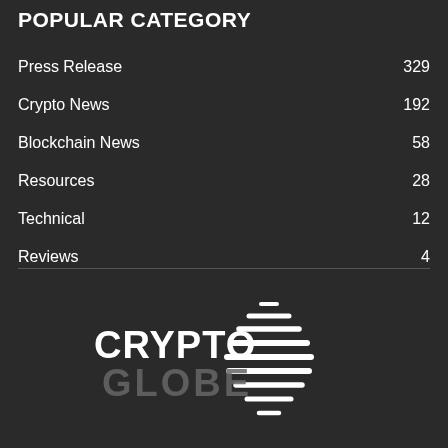POPULAR CATEGORY
Press Release  329
Crypto News  192
Blockchain News  58
Resources  28
Technical  12
Reviews  4
[Figure (logo): CryptoGlobe logo with white globe icon made of horizontal lines and text CRYPTO GLOBE]